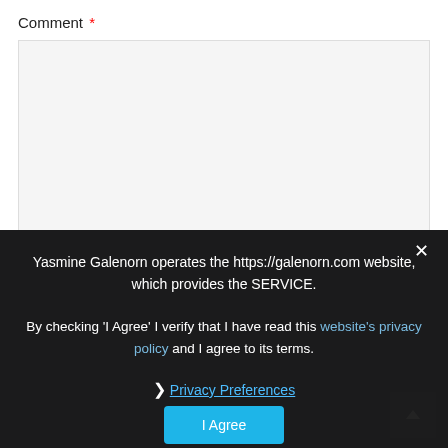Comment *
[Figure (screenshot): Comment text area input box, light gray background]
Yasmine Galenorn operates the https://galenorn.com website, which provides the SERVICE.
By checking 'I Agree' I verify that I have read this website's privacy policy and I agree to its terms.
❯ Privacy Preferences
I Agree
Name *
Email *